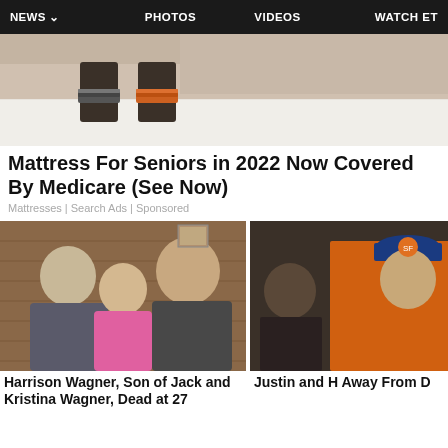NEWS  PHOTOS  VIDEOS  WATCH ET
[Figure (photo): Photo of person's legs and feet on a white mattress/bed]
Mattress For Seniors in 2022 Now Covered By Medicare (See Now)
Mattresses | Search Ads | Sponsored
[Figure (photo): Harrison Wagner with Jack Wagner and Kristina Wagner, three people posing together smiling, in a wood-paneled room]
[Figure (photo): Justin and H... person in orange jacket and baseball cap, partial image]
Harrison Wagner, Son of Jack and Kristina Wagner, Dead at 27
Justin and H Away From D...